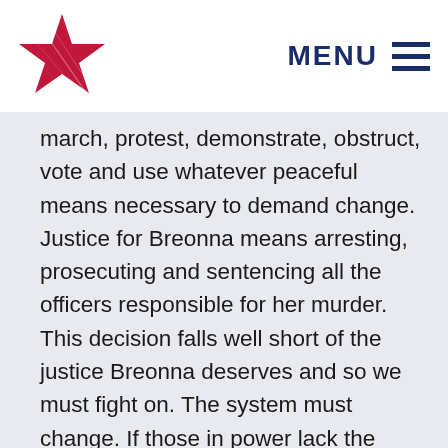MENU
march, protest, demonstrate, obstruct, vote and use whatever peaceful means necessary to demand change. Justice for Breonna means arresting, prosecuting and sentencing all the officers responsible for her murder. This decision falls well short of the justice Breonna deserves and so we must fight on. The system must change. If those in power lack the courage to do so, then we the people have to demand better until the system bends to our will. As Americans who believe in justice and fairness, we must act to change reckless, deadly policing policies and the system that